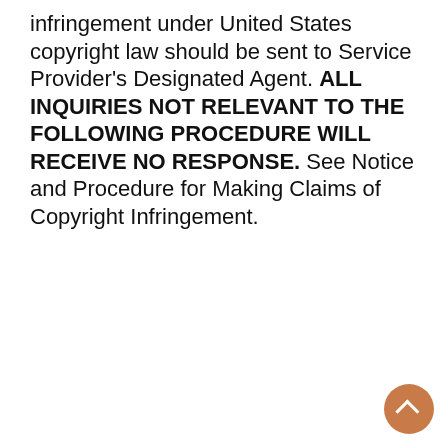infringement under United States copyright law should be sent to Service Provider's Designated Agent. ALL INQUIRIES NOT RELEVANT TO THE FOLLOWING PROCEDURE WILL RECEIVE NO RESPONSE. See Notice and Procedure for Making Claims of Copyright Infringement.
[Figure (infographic): Blue banner with large light text reading 'NEED TO EXPEDITE A DELIVERY TODAY?' and an orange button labeled 'EXPEDITE NOW']